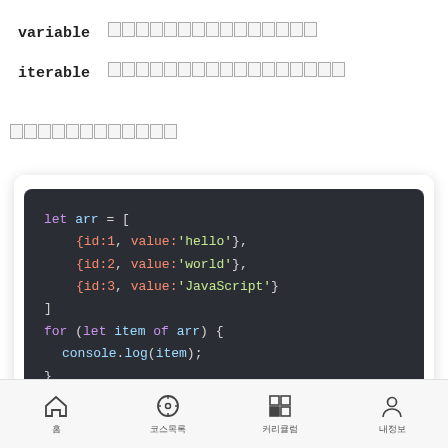variable □□□□□□□□□□□□□□□
iterable □□□□□□□□□□□□□□□□□
□□□□□□□□□□□□
[Figure (screenshot): Dark-themed code editor showing JavaScript for...of loop iterating over an array of objects]
홈  코스목록  커리큘럼  내정보